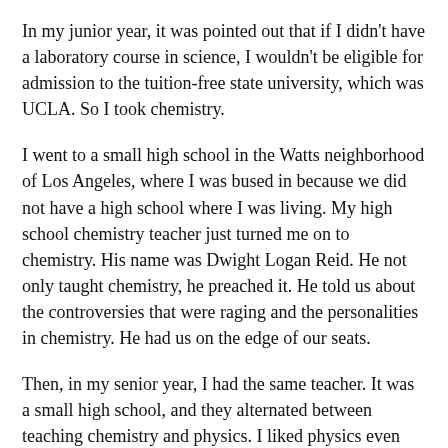In my junior year, it was pointed out that if I didn't have a laboratory course in science, I wouldn't be eligible for admission to the tuition-free state university, which was UCLA. So I took chemistry.
I went to a small high school in the Watts neighborhood of Los Angeles, where I was bused in because we did not have a high school where I was living. My high school chemistry teacher just turned me on to chemistry. His name was Dwight Logan Reid. He not only taught chemistry, he preached it. He told us about the controversies that were raging and the personalities in chemistry. He had us on the edge of our seats.
Then, in my senior year, I had the same teacher. It was a small high school, and they alternated between teaching chemistry and physics. I liked physics even better. But in those day (I graduated from high school in 1929(, there didn't seem to be any outlets of good chances for employment for a physicist, so